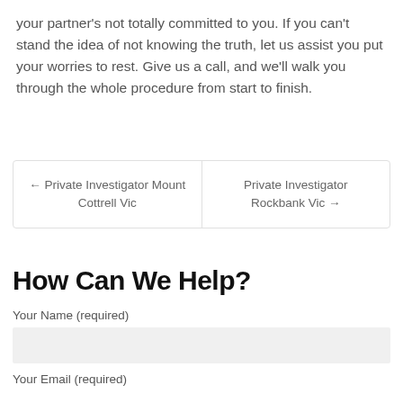your partner's not totally committed to you. If you can't stand the idea of not knowing the truth, let us assist you put your worries to rest. Give us a call, and we'll walk you through the whole procedure from start to finish.
← Private Investigator Mount Cottrell Vic
Private Investigator Rockbank Vic →
How Can We Help?
Your Name (required)
Your Email (required)